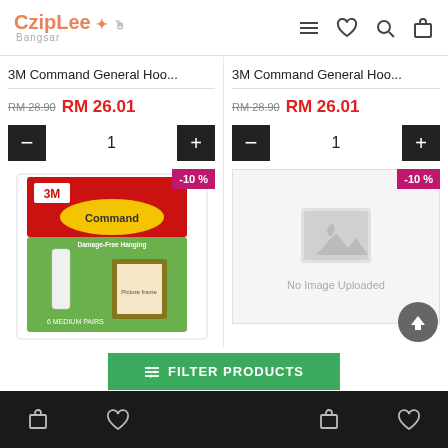CzipLee Bangsar — navigation header with menu, heart, search, cart icons
3M Command General Hoo...
RM 28.90  RM 26.01
3M Command General Hoo...
RM 28.90  RM 26.01
[Figure (photo): 3M Command General Hook product photo with red and green packaging, showing medium pairs of strips. Discount badge: -10 %]
[Figure (photo): No Image Uploaded placeholder with grey image icon. Discount badge: -10 %]
FILTER PRODUCTS
Bottom navigation bar with cart, heart icons on both sides